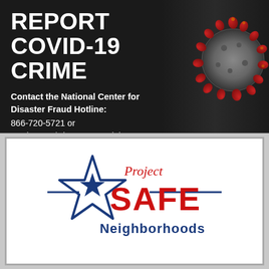[Figure (infographic): COVID-19 crime reporting public service announcement banner. Dark background with white bold text reading 'REPORT COVID-19 CRIME'. Below: 'Contact the National Center for Disaster Fraud Hotline: 866-720-5721 or Justice.gov/DisasterComplaintForm'. Right side shows a 3D render of a coronavirus particle in red and grey.]
[Figure (logo): Project Safe Neighborhoods logo: a blue five-pointed star outline with a solid blue star inside, flanked by blue horizontal lines. 'Project' in red serif text above, 'SAFE' in large bold red text, 'Neighborhoods' in dark blue text below.]